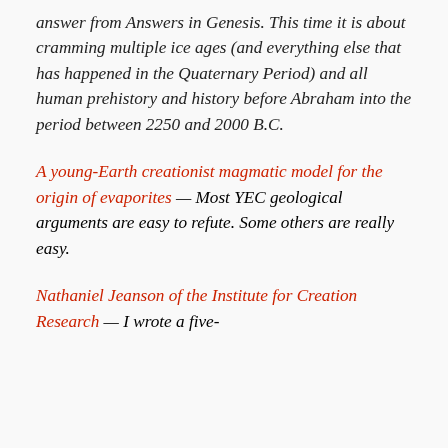answer from Answers in Genesis. This time it is about cramming multiple ice ages (and everything else that has happened in the Quaternary Period) and all human prehistory and history before Abraham into the period between 2250 and 2000 B.C.
A young-Earth creationist magmatic model for the origin of evaporites — Most YEC geological arguments are easy to refute. Some others are really easy.
Nathaniel Jeanson of the Institute for Creation Research — I wrote a five-